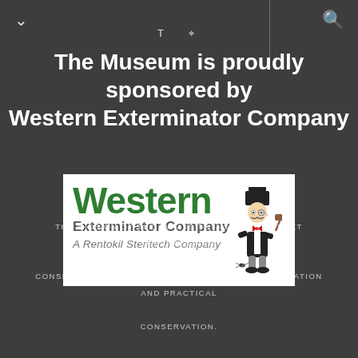T U (navigation icons)
The Museum is proudly sponsored by Western Exterminator Company
[Figure (logo): Western Exterminator Company logo — large green 'Western' text, 'Exterminator Company' below, 'A Rentokil Steritech Company' tagline, with cartoon mascot figure on right]
THE MISSION OF THE PWM IS TO INSPIRE THE NEXT GENERATION OF CONSERVATIONISTS THROUGH ENVIRONMENTAL EDUCATION AND PRACTICAL CONSERVATION.